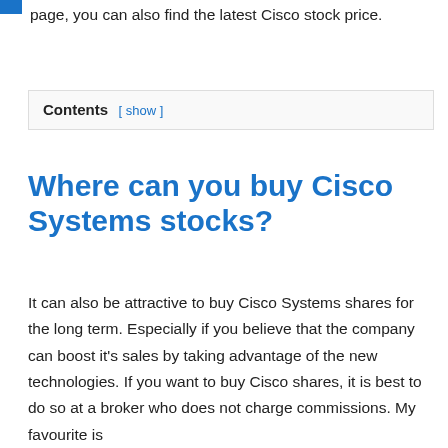page, you can also find the latest Cisco stock price.
Contents [ show ]
Where can you buy Cisco Systems stocks?
It can also be attractive to buy Cisco Systems shares for the long term. Especially if you believe that the company can boost it's sales by taking advantage of the new technologies. If you want to buy Cisco shares, it is best to do so at a broker who does not charge commissions. My favourite is